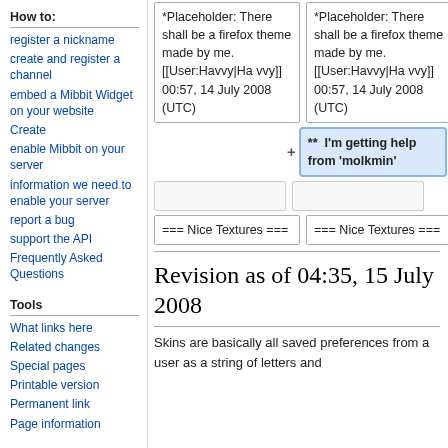How to:
register a nickname
create and register a channel
embed a Mibbit Widget on your website
Create
enable Mibbit on your server
information we need to enable your server
report a bug
support the API
Frequently Asked Questions
Tools
What links here
Related changes
Special pages
Printable version
Permanent link
Page information
*Placeholder: There shall be a firefox theme made by me. [[User:Havvy|Havvy]] 00:57, 14 July 2008 (UTC)
*Placeholder: There shall be a firefox theme made by me. [[User:Havvy|Havvy]] 00:57, 14 July 2008 (UTC)
**  I'm getting help from 'molkmin'
=== Nice Textures ===
=== Nice Textures ===
Revision as of 04:35, 15 July 2008
Skins are basically all saved preferences from a user as a string of letters and